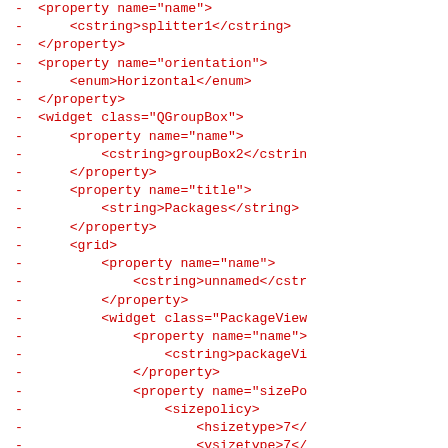XML/UI code snippet showing property and widget definitions including property name, cstring splitter1, property orientation, enum Horizontal, widget class QGroupBox, property name, cstring groupBox2, property title, string Packages, grid, property name, cstring unnamed, widget class PackageView, property name, cstring packageVi, property sizePo, sizepolicy, hsizetype 7, vsizetype 7, horstretch 0, verstretch 0, /sizepolicy, /property, /widget